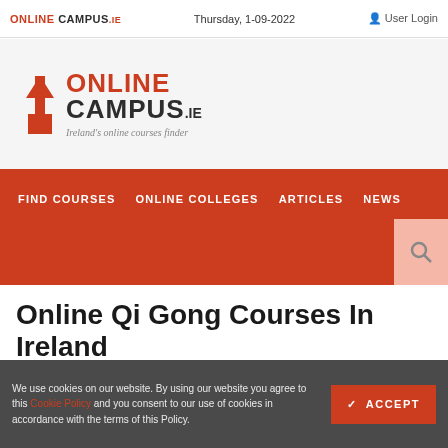ONLINE CAMPUS.IE | Thursday, 1-09-2022 | User Login
[Figure (logo): OnlineCampus.ie logo with upward arrow icon, text ONLINE CAMPUS.IE and tagline Ireland's online courses finder]
FIND COURSES | ONLINE COLLEGES | ARTICLES | NEWS
Online Qi Gong Courses In Ireland
We use cookies on our website. By using our website you agree to this Cookie Policy and you consent to our use of cookies in accordance with the terms of this Policy.